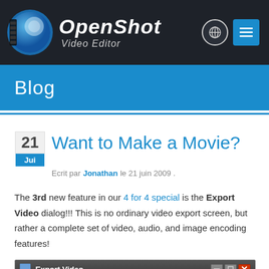[Figure (logo): OpenShot Video Editor logo with globe icon and menu button in dark header]
Blog
Want to Make a Movie?
Ecrit par Jonathan le 21 juin 2009 .
The 3rd new feature in our 4 for 4 special is the Export Video dialog!!! This is no ordinary video export screen, but rather a complete set of video, audio, and image encoding features!
[Figure (screenshot): Export Video dialog window showing General Options section]